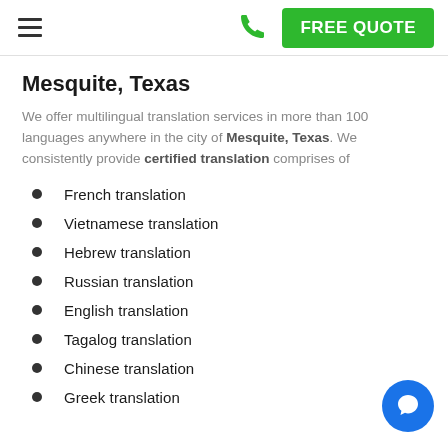FREE QUOTE
Mesquite, Texas
We offer multilingual translation services in more than 100 languages anywhere in the city of Mesquite, Texas. We consistently provide certified translation comprises of
French translation
Vietnamese translation
Hebrew translation
Russian translation
English translation
Tagalog translation
Chinese translation
Greek translation